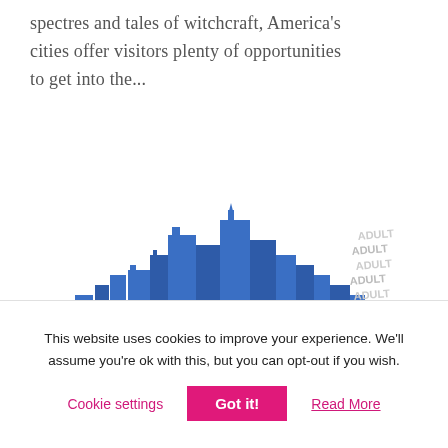spectres and tales of witchcraft, America's cities offer visitors plenty of opportunities to get into the...
[Figure (illustration): The New York Pass card illustration with blue city skyline silhouette and a gold chip card showing 'THE NEW YORK' text in bold red and navy, with 'ADULT' label]
This website uses cookies to improve your experience. We'll assume you're ok with this, but you can opt-out if you wish.
Cookie settings | Got it! | Read More